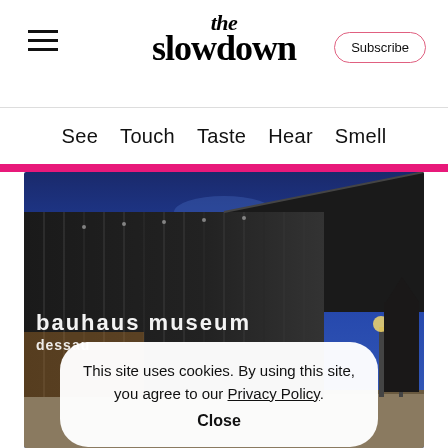the slowdown
Subscribe
See  Touch  Taste  Hear  Smell
[Figure (photo): Nighttime exterior photo of the Bauhaus Museum Dessau building with illuminated 'bauhaus museum dessau' lettering on the glass facade, dramatic blue cloudy sky, streetlights in background]
This site uses cookies. By using this site, you agree to our Privacy Policy. Close